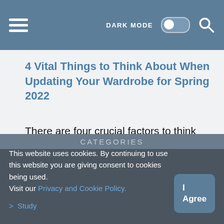DARK MODE [toggle] [search]
4 Vital Things to Think About When Updating Your Wardrobe for Spring 2022
There are four crucial factors to think about when updating your wardrobe for spring! First off, which season of the year your clothes are best suited to depends greatly…
CATEGORIES
This website uses cookies. By continuing to use this website you are giving consent to cookies being used. Visit our Privacy and Cookie Policy.
> Study